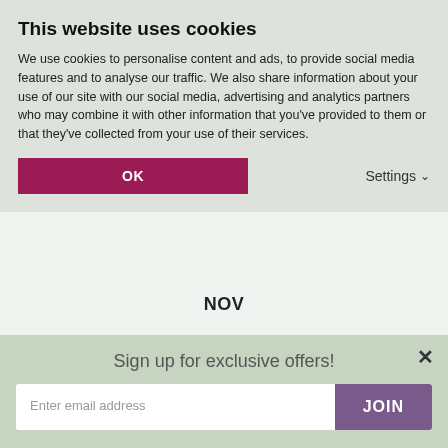This website uses cookies
We use cookies to personalise content and ads, to provide social media features and to analyse our traffic. We also share information about your use of our site with our social media, advertising and analytics partners who may combine it with other information that you've provided to them or that they've collected from your use of their services.
OK
Settings
NOV
DEC
[Figure (infographic): Legend showing Flowering Months (dark red dot) and Harvest Months (teal dot)]
YOU MAY ALSO LIKE
Sign up for exclusive offers!
Enter email address
JOIN